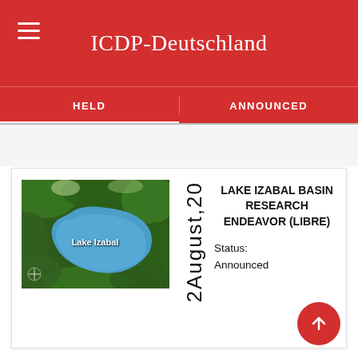ICDP-Deutschland
HELD
ANNOUNCED
[Figure (photo): Satellite aerial image of Lake Izabal in Guatemala, showing the lake surrounded by green vegetation. White text label reads 'Lake Izabal'.]
2 August, 20
LAKE IZABAL BASIN RESEARCH ENDEAVOR (LIBRE)
Status: Announced